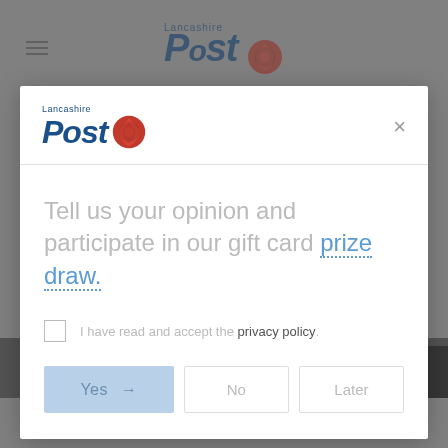[Figure (screenshot): Background Lancashire Post website page (dimmed/greyed out behind modal overlay)]
[Figure (screenshot): Modal dialog box with Lancashire Post logo, close button, survey invitation text, privacy policy checkbox, and Yes/No/Later buttons]
Tell us your opinion and participate in our gift card prize draw.
I have read and accept the privacy policy.
Yes → No Later
VMA's You Must See To Believe
Powered by UserReport